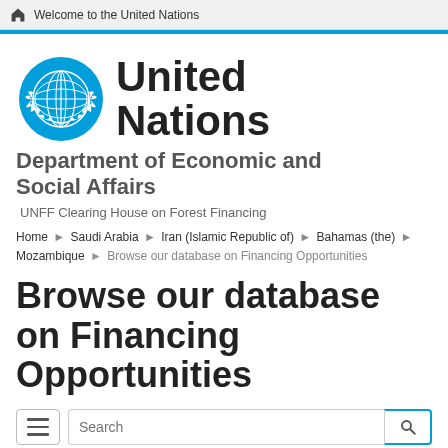Welcome to the United Nations
[Figure (logo): United Nations emblem logo in blue with olive branches]
United Nations
Department of Economic and Social Affairs
UNFF Clearing House on Forest Financing
Home › Saudi Arabia › Iran (Islamic Republic of) › Bahamas (the) › Mozambique › Browse our database on Financing Opportunities
Browse our database on Financing Opportunities